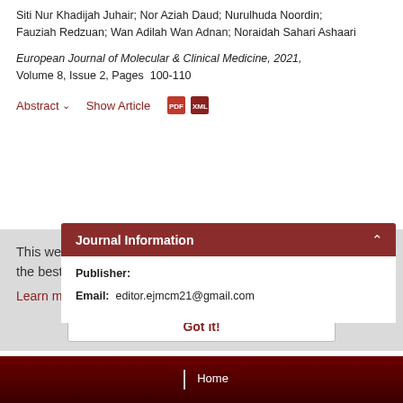Siti Nur Khadijah Juhair; Nor Aziah Daud; Nurulhuda Noordin; Fauziah Redzuan; Wan Adilah Wan Adnan; Noraidah Sahari Ashaari
European Journal of Molecular & Clinical Medicine, 2021, Volume 8, Issue 2, Pages 100-110
Abstract ▾    Show Article    [PDF icons]
Journal Information
This website uses cookies to ensure you get the best experience on our website
Learn more
Publisher:
Email: editor.ejmcm21@gmail.com
Got it!
Home